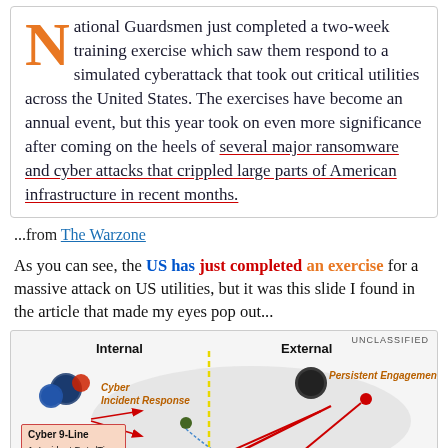National Guardsmen just completed a two-week training exercise which saw them respond to a simulated cyberattack that took out critical utilities across the United States. The exercises have become an annual event, but this year took on even more significance after coming on the heels of several major ransomware and cyber attacks that crippled large parts of American infrastructure in recent months.
...from The Warzone
As you can see, the US has just completed an exercise for a massive attack on US utilities, but it was this slide I found in the article that made my eyes pop out...
[Figure (infographic): Military cyber operations diagram showing Internal vs External divisions. Left side shows Cyber Incident Response with government agency logos. Right side shows Persistent Engagement. Center has a dashed yellow line dividing Internal and External. Red arrows indicate attack vectors. Bottom left contains a Cyber 9-Line box listing: 1. Incident Date/Time, 2. Classification (DoD...). Labeled UNCLASSIFIED.]